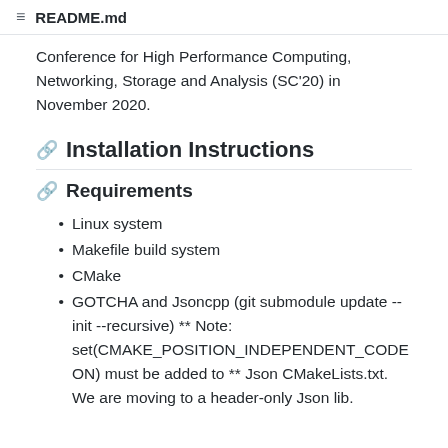README.md
Conference for High Performance Computing, Networking, Storage and Analysis (SC'20) in November 2020.
Installation Instructions
Requirements
Linux system
Makefile build system
CMake
GOTCHA and Jsoncpp (git submodule update --init --recursive) ** Note: set(CMAKE_POSITION_INDEPENDENT_CODE ON) must be added to ** Json CMakeLists.txt. We are moving to a header-only Json lib.